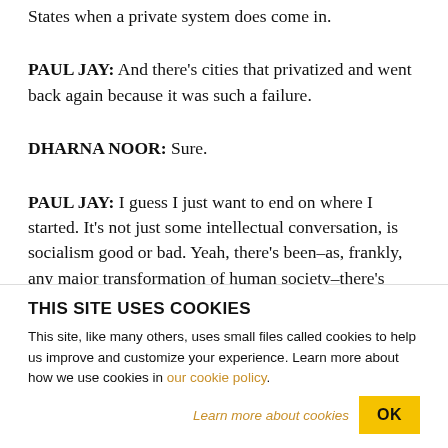States when a private system does come in.
PAUL JAY: And there's cities that privatized and went back again because it was such a failure.
DHARNA NOOR: Sure.
PAUL JAY: I guess I just want to end on where I started. It's not just some intellectual conversation, is socialism good or bad. Yeah, there's been–as, frankly, any major transformation of human society–there's
THIS SITE USES COOKIES
This site, like many others, uses small files called cookies to help us improve and customize your experience. Learn more about how we use cookies in our cookie policy.
Learn more about cookies
OK